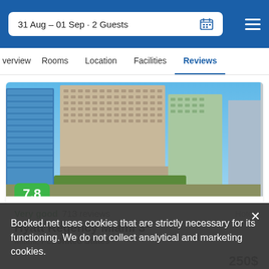31 Aug – 01 Sep · 2 Guests
verview   Rooms   Location   Facilities   Reviews
[Figure (photo): Aerial view of Hyatt Regency Miami hotel and surrounding city buildings]
7.8
Very good   713 reviews   Hotel
Hyatt Regency Miami 3*
Miami, FL, United States
Booked.net uses cookies that are strictly necessary for its functioning. We do not collect analytical and marketing cookies.
250$